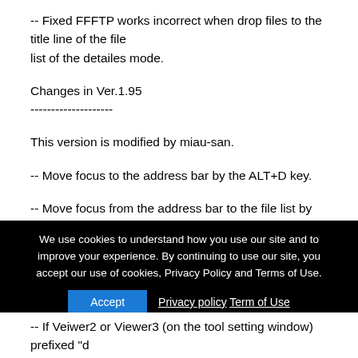-- Fixed FFFTP works incorrect when drop files to the title line of the file
list of the detailes mode.
Changes in Ver.1.95
--------------------
This version is modified by miau-san.
-- Move focus to the address bar by the ALT+D key.
-- Move focus from the address bar to the file list by the TAB key.
-- Change transfer mode (ASCII -> BINARY -> AUTO) by the Ctrl+M Key.
We use cookies to understand how you use our site and to improve your experience. By continuing to use our site, you accept our use of cookies, Privacy Policy and Terms of Use.
Accept | Privacy policy Term of Use
-- If Veiwer2 or Viewer3 (on the tool setting window) prefixed "d